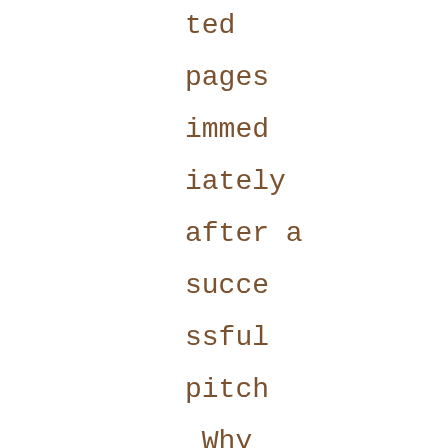ted pages immediately after a successful pitch Why you should be making regular backups of your writing Why